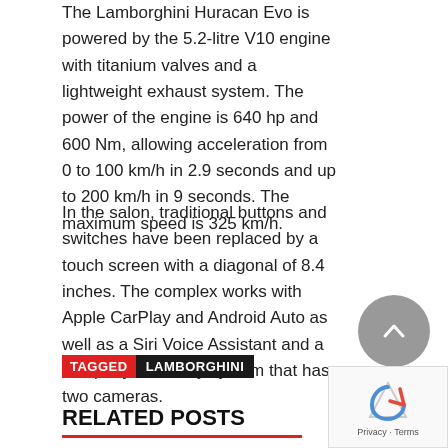The Lamborghini Huracan Evo is powered by the 5.2-litre V10 engine with titanium valves and a lightweight exhaust system. The power of the engine is 640 hp and 600 Nm, allowing acceleration from 0 to 100 km/h in 2.9 seconds and up to 200 km/h in 9 seconds. The maximum speed is 325 km/h.
In the salon, traditional buttons and switches have been replaced by a touch screen with a diagonal of 8.4 inches. The complex works with Apple CarPlay and Android Auto as well as a Siri Voice Assistant and a company telemetry system that has two cameras.
TAGGED LAMBORGHINI
RELATED POSTS